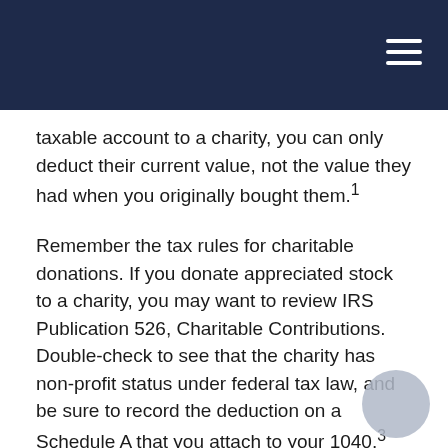taxable account to a charity, you can only deduct their current value, not the value they had when you originally bought them.¹
Remember the tax rules for charitable donations. If you donate appreciated stock to a charity, you may want to review IRS Publication 526, Charitable Contributions. Double-check to see that the charity has non-profit status under federal tax law, and be sure to record the deduction on a Schedule A that you attach to your 1040.³
If your contribution totals $250 or more, the donation must be recorded – that is, the charity needs to give you a written statement describing the donation and its value and whether it is providing you with goods or services in exchange